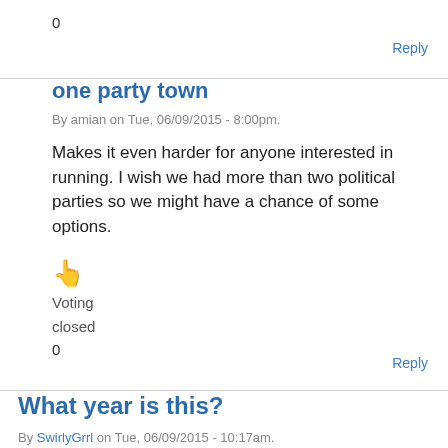0
Reply
one party town
By amian on Tue, 06/09/2015 - 8:00pm.
Makes it even harder for anyone interested in running. I wish we had more than two political parties so we might have a chance of some options.
Voting
closed
0
Reply
What year is this?
By SwirlyGrrl on Tue, 06/09/2015 - 10:17am.